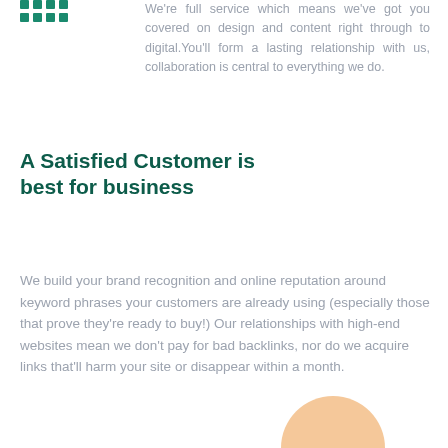[Figure (illustration): Teal/green dot grid pattern logo icon in top-left corner]
We're full service which means we've got you covered on design and content right through to digital.You'll form a lasting relationship with us, collaboration is central to everything we do.
A Satisfied Customer is best for business
We build your brand recognition and online reputation around keyword phrases your customers are already using (especially those that prove they're ready to buy!) Our relationships with high-end websites mean we don't pay for bad backlinks, nor do we acquire links that'll harm your site or disappear within a month.
[Figure (illustration): Partial view of a person/avatar illustration with peach/beige blob shape at bottom right]